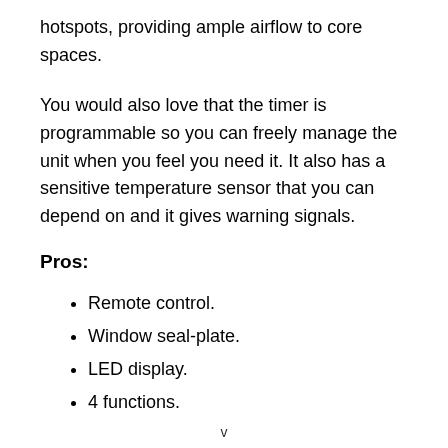hotspots, providing ample airflow to core spaces.
You would also love that the timer is programmable so you can freely manage the unit when you feel you need it. It also has a sensitive temperature sensor that you can depend on and it gives warning signals.
Pros:
Remote control.
Window seal-plate.
LED display.
4 functions.
v